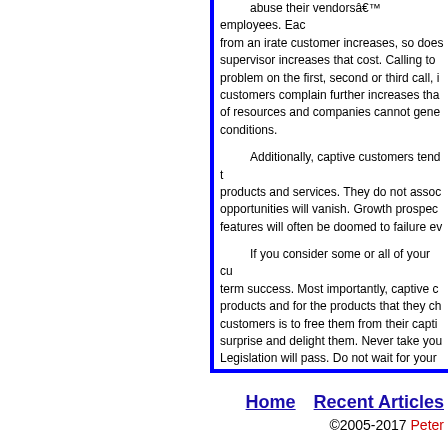abuse their vendorsâ€™ employees. Each time a call from an irate customer increases, so does the cost. Calling to a supervisor increases that cost. Calling to escalate the problem on the first, second or third call, increases cost. If customers complain further increases that cost. These are a drain of resources and companies cannot generally afford them under all conditions.
Additionally, captive customers tend to stop buying new products and services. They do not associate with new opportunities will vanish. Growth prospects dim. New features will often be doomed to failure even before launch.
If you consider some or all of your customers to be captive, term success. Most importantly, captive customers stop buying new products and for the products that they choose to keep, doing more for customers is to free them from their captivity. Engage with them, surprise and delight them. Never take your customers for granted. Legislation will pass. Do not wait for your customers to leave. Taking your partner for granted in your personal life is a bad idea in commercial life.
Read other articles and learn more ab
For permission to reprint or reuse
Home   Recent Articles   ©2005-2017 Peter